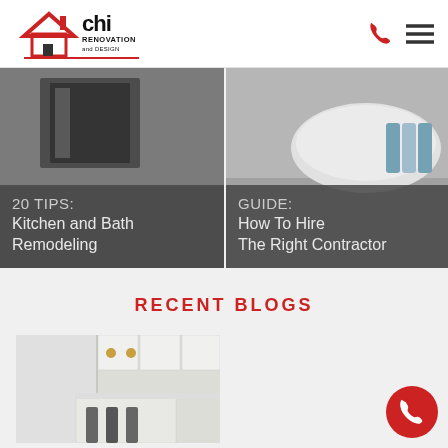[Figure (logo): CHI Renovation and Design logo with house/roof icon in red and black text]
[Figure (illustration): Kitchen/bath remodeling photo with dark overlay showing '20 TIPS: Kitchen and Bath Remodeling']
[Figure (illustration): Bathroom photo with dark overlay showing 'GUIDE: How To Hire The Right Contractor']
RECENT BLOGS
[Figure (photo): White kitchen with island and bar stools]
The Emotional Ebb Flow of a Renovati...